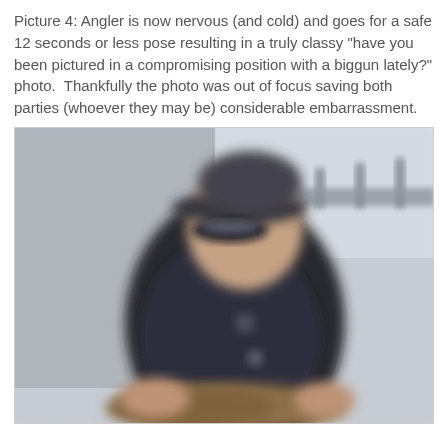Picture 4: Angler is now nervous (and cold) and goes for a safe 12 seconds or less pose resulting in a truly classy "have you been pictured in a compromising position with a biggun lately?" photo.  Thankfully the photo was out of focus saving both parties (whoever they may be) considerable embarrassment.
[Figure (photo): Blurry out-of-focus photo of a man in a dark hoodie and a cap with sunglasses, leaning over while outdoors near a concrete wall and railing, apparently holding a large fish.]